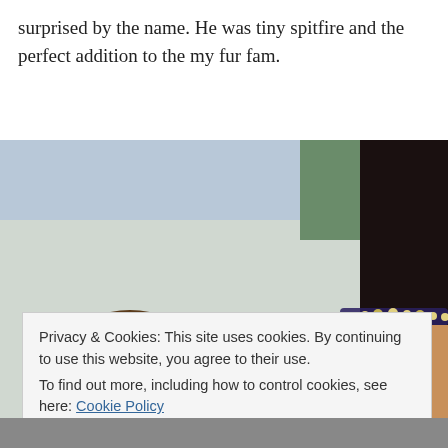surprised by the name. He was tiny spitfire and the perfect addition to the my fur fam.
[Figure (photo): Selfie-style photo of two smiling women outdoors; the woman in the foreground has dark hair with a beaded headband, the other is partially visible behind her.]
Privacy & Cookies: This site uses cookies. By continuing to use this website, you agree to their use.
To find out more, including how to control cookies, see here: Cookie Policy